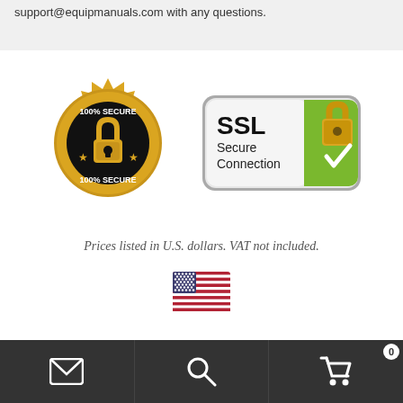support@equipmanuals.com with any questions.
[Figure (logo): 100% SECURE gold seal badge with padlock icon]
[Figure (logo): SSL Secure Connection badge with green padlock]
Prices listed in U.S. dollars. VAT not included.
[Figure (illustration): US flag icon]
[Figure (infographic): Bottom navigation bar with email, search, and cart icons]